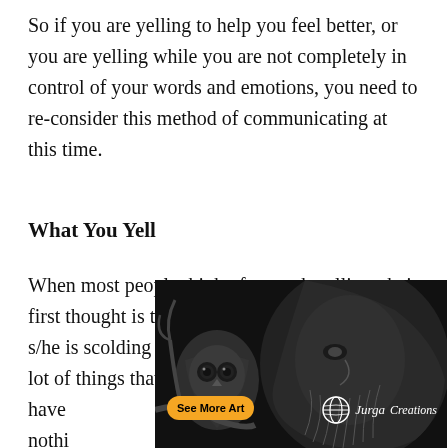So if you are yelling to help you feel better, or you are yelling while you are not completely in control of your words and emotions, you need to re-consider this method of communicating at this time.
What You Yell
When most people think of a coach yelling, their first thought is that the coach is mad and that s/he is scolding the players. However, there are lot of things that coaches yell at players that have nothing to do with... Some... they comp... or
[Figure (illustration): A black and white pencil drawing of an owl and a bearded man face, with a yellow 'See More Art' button and 'Jurga Creations' logo overlay, partially covering the text below.]